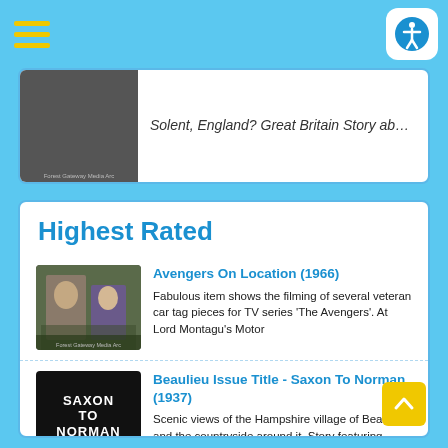[Figure (screenshot): Top navigation bar with yellow hamburger menu icon on left and white accessibility button (person icon in circle) on right, on blue background]
[Figure (screenshot): Partially visible card showing a thumbnail image with 'Forest Gateway Media Arc' label and italic text starting with 'Solent, England? Great Britain Story ab...']
Highest Rated
[Figure (photo): Thumbnail image showing two people in vintage clothing, labeled 'Forest Gateway Media Arc']
Avengers On Location (1966)
Fabulous item shows the filming of several veteran car tag pieces for TV series 'The Avengers'. At Lord Montagu's Motor
[Figure (screenshot): Black thumbnail with white text reading SAXON TO NORMAN, labeled 'Forest Gateway Media Arc']
Beaulieu Issue Title - Saxon To Norman (1937)
Scenic views of the Hampshire village of Beaulieu and the countryside around it. Story featuring scenes around Beaulieu
[Figure (photo): Dark green thumbnail image partially visible at bottom]
Beaulieu Motor Museum (1970-